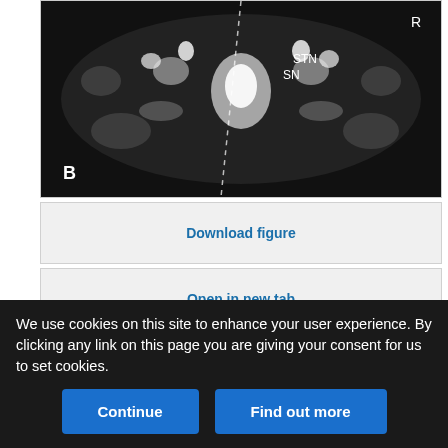[Figure (photo): Grayscale MRI coronal image (T2-weighted) showing brain structures STN and SN labeled with text, dotted line marker, and letter B in lower left corner, letter R in upper right corner.]
Download figure
Open in new tab
Download powerpoint
Fig 1.
Typical T2-weighted axial (A) and coronal (B) depiction of the target region for STN DBS in a 71-year-old woman with PD. The target point is the lateral
We use cookies on this site to enhance your user experience. By clicking any link on this page you are giving your consent for us to set cookies.
Continue
Find out more